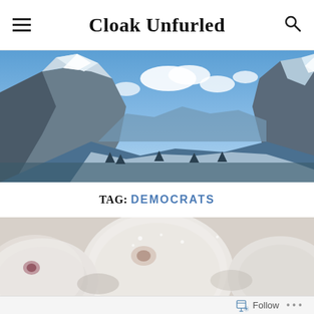Cloak Unfurled
[Figure (photo): Panoramic mountain landscape with snow-capped peaks, blue sky with clouds, and a valley between rocky cliffs]
TAG: DEMOCRATS
[Figure (photo): Close-up of powdered sugar donuts or pastries, white and fluffy]
Follow ...